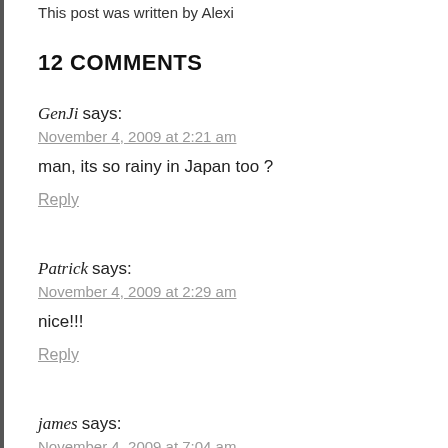This post was written by Alexi
12 COMMENTS
GenJi says:
November 4, 2009 at 2:21 am

man, its so rainy in Japan too ?

Reply
Patrick says:
November 4, 2009 at 2:29 am

nice!!!

Reply
james says:
November 4, 2009 at 7:04 am